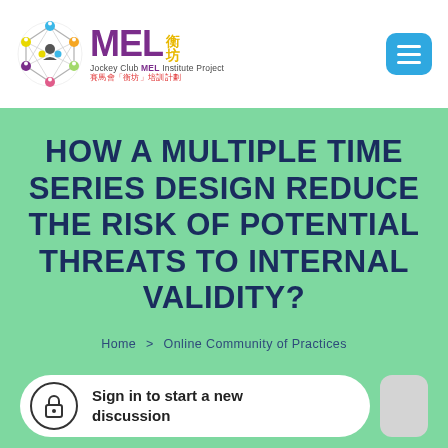[Figure (logo): MEL Institute Project logo with colorful circular network icon and Chinese characters, Jockey Club MEL Institute Project branding]
HOW A MULTIPLE TIME SERIES DESIGN REDUCE THE RISK OF POTENTIAL THREATS TO INTERNAL VALIDITY?
Home > Online Community of Practices
Sign in to start a new discussion